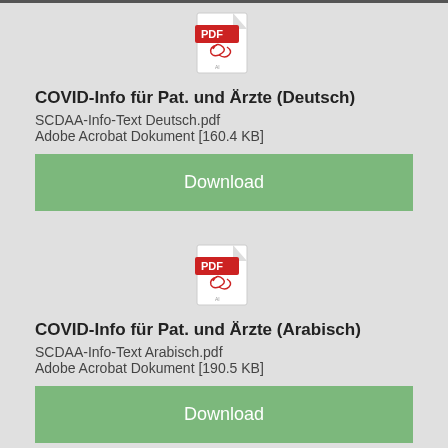[Figure (other): PDF file icon with red PDF label for SCDAA-Info-Text Deutsch.pdf]
COVID-Info für Pat. und Ärzte (Deutsch)
SCDAA-Info-Text Deutsch.pdf
Adobe Acrobat Dokument [160.4 KB]
Download
[Figure (other): PDF file icon with red PDF label for SCDAA-Info-Text Arabisch.pdf]
COVID-Info für Pat. und Ärzte (Arabisch)
SCDAA-Info-Text Arabisch.pdf
Adobe Acrobat Dokument [190.5 KB]
Download